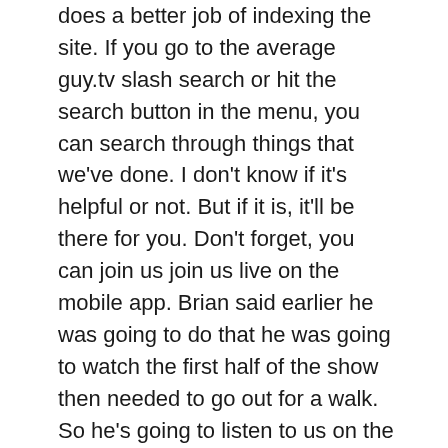does a better job of indexing the site. If you go to the average guy.tv slash search or hit the search button in the menu, you can search through things that we've done. I don't know if it's helpful or not. But if it is, it'll be there for you. Don't forget, you can join us join us live on the mobile app. Brian said earlier he was going to do that he was going to watch the first half of the show then needed to go out for a walk. So he's going to listen to us on the mobile app as he's walking a great way to do it. head out to the average guy.tv you can download it there actually, the shortcut is Home Gadget geeks.com. So if you want to download it from there, it's only this show so you can put you have a little icon on there if you always just want to kind of stay up. It always have the most current and it will stream it live. If you want to do it that way. Hundred percent streaming Home Gadget geeks.com. Don't